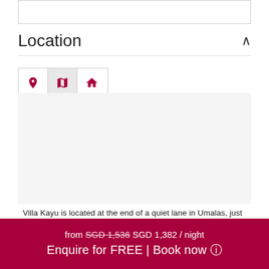Location
[Figure (map): Interactive map tab bar with location pin icon, map icon (active/selected), and house icon. Map area below is empty/loading.]
Villa Kayu is located at the end of a quiet lane in Umalas, just a short drive away from the centre of Seminyak
from SGD 1,536 SGD 1,382 / night  Enquire for FREE | Book now